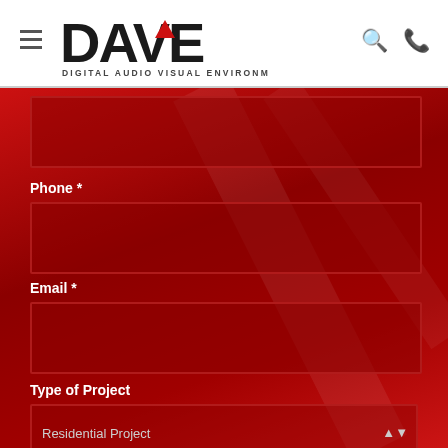[Figure (logo): DAVE - Digital Audio Visual Environments logo with red triangle/arrow accent]
Phone *
Email *
Type of Project
Residential Project